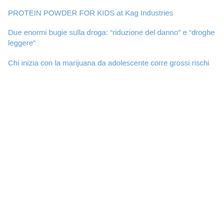PROTEIN POWDER FOR KIDS at Kag Industries
Due enormi bugie sulla droga: “riduzione del danno” e “droghe leggere”
Chi inizia con la marijuana da adolescente corre grossi rischi